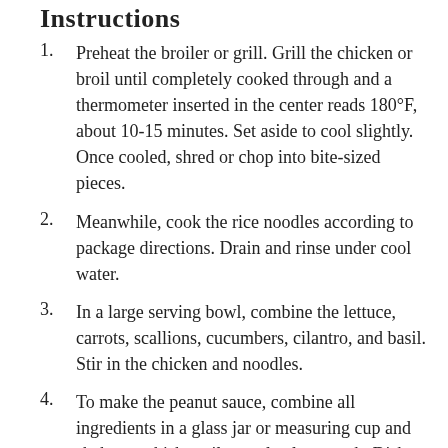Instructions
Preheat the broiler or grill. Grill the chicken or broil until completely cooked through and a thermometer inserted in the center reads 180°F, about 10-15 minutes. Set aside to cool slightly. Once cooled, shred or chop into bite-sized pieces.
Meanwhile, cook the rice noodles according to package directions. Drain and rinse under cool water.
In a large serving bowl, combine the lettuce, carrots, scallions, cucumbers, cilantro, and basil. Stir in the chicken and noodles.
To make the peanut sauce, combine all ingredients in a glass jar or measuring cup and shake or whisk until completely smooth. Dish the salad into individual serving bowls. Drizzle the salad dressing over the bowls, then top with peanuts and avocado slices. Serve immediately.